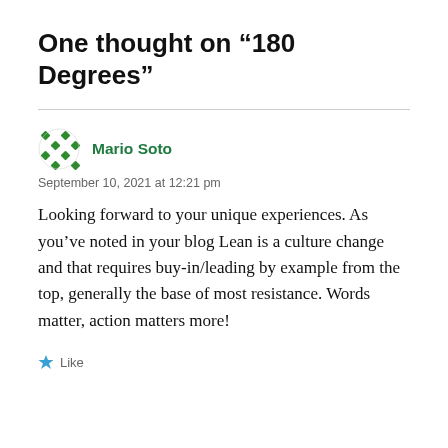One thought on “180 Degrees”
Mario Soto
September 10, 2021 at 12:21 pm
Looking forward to your unique experiences. As you’ve noted in your blog Lean is a culture change and that requires buy-in/leading by example from the top, generally the base of most resistance. Words matter, action matters more!
Like